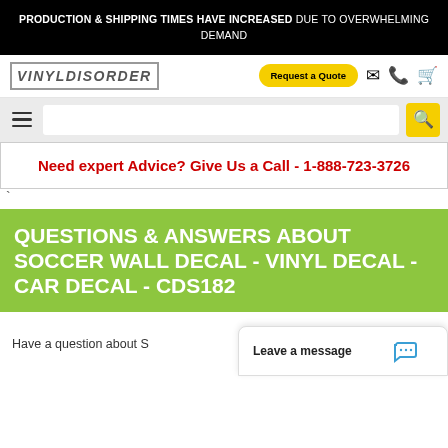PRODUCTION & SHIPPING TIMES HAVE INCREASED DUE TO OVERWHELMING DEMAND
[Figure (logo): VinylDisorder logo - stylized graffiti text]
Request a Quote
Need expert Advice? Give Us a Call - 1-888-723-3726
QUESTIONS & ANSWERS ABOUT SOCCER WALL DECAL - VINYL DECAL - CAR DECAL - CDS182
Have a question about S...
Leave a message